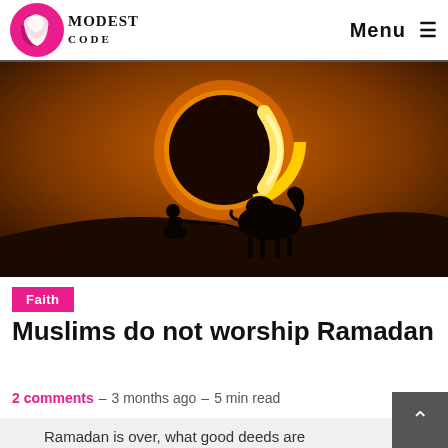Modest Code — Menu
[Figure (photo): Silhouette of a person kneeling and a camel standing on a sand dune against a dramatic solar eclipse or crescent sun backdrop with golden orange sky]
Faith
Muslims do not worship Ramadan
2 comments – 3 months ago – 5 min read
Ramadan is over, what good deeds are